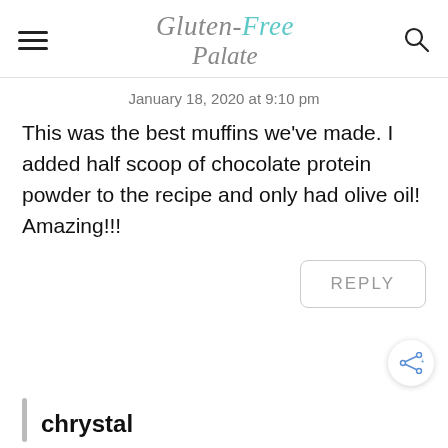Gluten-Free Palate (logo with hamburger menu and search icon)
January 18, 2020 at 9:10 pm
This was the best muffins we've made. I added half scoop of chocolate protein powder to the recipe and only had olive oil! Amazing!!!
REPLY
chrystal